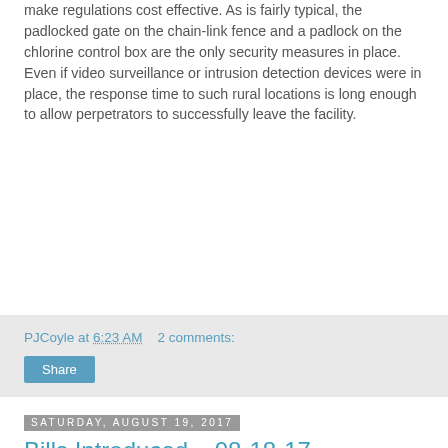make regulations cost effective. As is fairly typical, the padlocked gate on the chain-link fence and a padlock on the chlorine control box are the only security measures in place. Even if video surveillance or intrusion detection devices were in place, the response time to such rural locations is long enough to allow perpetrators to successfully leave the facility.
PJCoyle at 6:23 AM   2 comments:
Share
Saturday, August 19, 2017
Bills Introduced – 08-18-17
Yesterday, both the House and Senate met in pro forma sessions. There were ten bills introduced, including one in the Senate. Senate rules do not normally allow for bill introductions during pro forma sessions, but an exception was made in this case. Interestingly, that is one bill that may be of specific interest to readers of this blog: